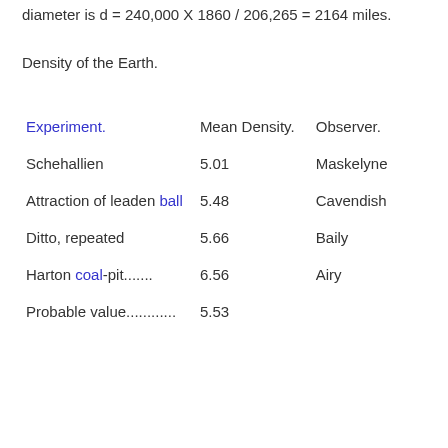diameter is d = 240,000 X 1860 / 206,265 = 2164 miles.
Density of the Earth.
| Experiment. | Mean Density. | Observer. |
| --- | --- | --- |
| Schehallien | 5.01 | Maskelyne |
| Attraction of leaden ball | 5.48 | Cavendish |
| Ditto, repeated | 5.66 | Baily |
| Harton coal-pit....... | 6.56 | Airy |
| Probable value............ | 5.53 |  |